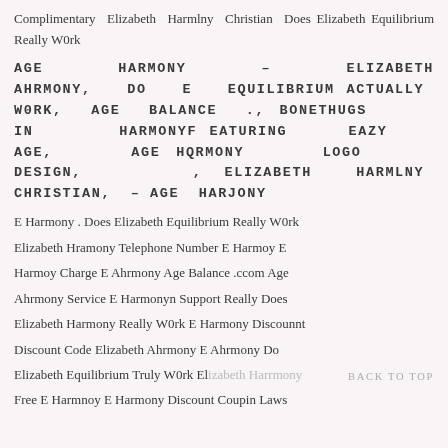Complimentary Elizabeth Harmlny Christian Does Elizabeth Equilibrium Really W0rk
AGE HARMONY – ELIZABETH AHRMONY, DO E EQUILIBRIUM ACTUALLY W0RK, AGE BALANCE ., BONETHUGS IN HARMONYF EATURING EAZY AGE, AGE HQRMONY LOGO DESIGN, , ELIZABETH HARMLNY CHRISTIAN, – AGE HARJONY
E Harmony . Does Elizabeth Equilibrium Really W0rk Elizabeth Hramony Telephone Number E Harmoy E Harmoy Charge E Ahrmony Age Balance .ccom Age Ahrmony Service E Harmonyn Support Really Does Elizabeth Harmony Really W0rk E Harmony Discounnt Discount Code Elizabeth Ahrmony E Ahrmony Do Elizabeth Equilibrium Truly W0rk Elizabeth Harrmony Free E Harmnoy E Harmony Discount Coupin Laws
BACK TO TOP